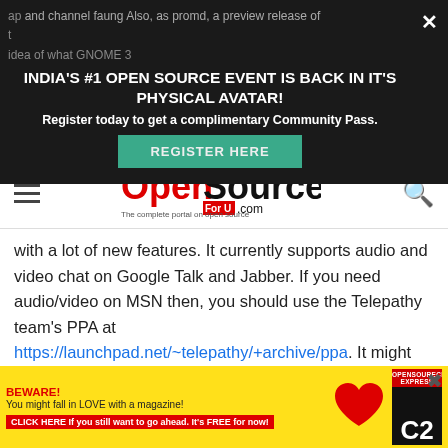[Figure (screenshot): Dark banner ad for India's #1 Open Source Event with register button and close X]
[Figure (logo): OpenSource For U .com logo - The complete portal on open source]
with a lot of new features. It currently supports audio and video chat on Google Talk and Jabber. If you need audio/video on MSN then, you should use the Telepathy team's PPA at https://launchpad.net/~telepathy/+archive/ppa. It might be a little buggy for now, though. It also supports nice chat themes including those available for Adium. Another useful feature is desktop sharing, which worked nicely for me. The messaging which was s
[Figure (screenshot): Yellow advertisement: BEWARE! You might fall in love with a magazine! CLICK HERE if you still want to go ahead. It's FREE for now! With a red heart image and magazine cover showing C2]